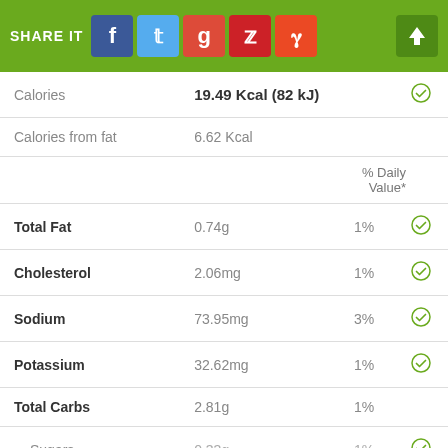SHARE IT [social icons: Facebook, Twitter, Google+, Pinterest, StumbleUpon]
| Nutrient | Amount | % Daily Value |  |
| --- | --- | --- | --- |
| Calories | 19.49 Kcal (82 kJ) |  | ✓ |
| Calories from fat | 6.62 Kcal |  |  |
|  | % Daily Value* |  |  |
| Total Fat | 0.74g | 1% | ✓ |
| Cholesterol | 2.06mg | 1% | ✓ |
| Sodium | 73.95mg | 3% | ✓ |
| Potassium | 32.62mg | 1% | ✓ |
| Total Carbs | 2.81g | 1% |  |
| Sugars | 0.33g | 1% | ✓ |
| Dietary Fiber | 0.2g | 1% |  |
| Protein | 0.48g | 1% |  |